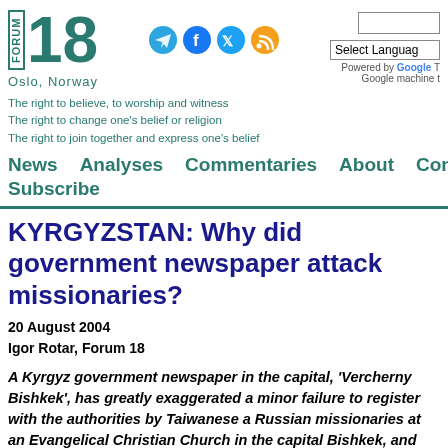[Figure (logo): Forum 18 logo with number 18 in teal/green and FORUM text vertically on left side]
Oslo, Norway
[Figure (infographic): Social media icons: Telegram, Facebook, Twitter, RSS feed]
Select Language
Powered by Google
Google machine t
The right to believe, to worship and witness
The right to change one's belief or religion
The right to join together and express one's belief
News   Analyses   Commentaries   About   Contact
Subscribe
KYRGYZSTAN: Why did government newspaper attack missionaries?
20 August 2004
Igor Rotar, Forum 18
A Kyrgyz government newspaper in the capital, 'Vercherny Bishkek', has greatly exaggerated a minor failure to register with the authorities by Taiwanese and Russian missionaries at an Evangelical Christian Church in the capital Bishkek, and has announced that unspecified "measures" "are now being decided" by